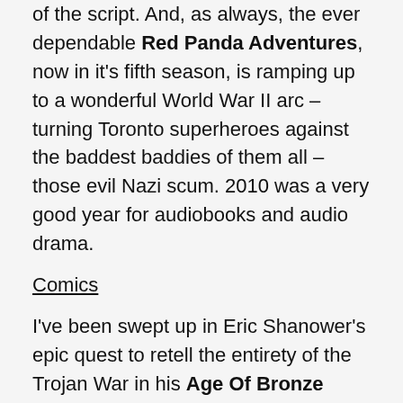of the script. And, as always, the ever dependable Red Panda Adventures, now in it's fifth season, is ramping up to a wonderful World War II arc – turning Toronto superheroes against the baddest baddies of them all – those evil Nazi scum. 2010 was a very good year for audiobooks and audio drama.
Comics
I've been swept up in Eric Shanower's epic quest to retell the entirety of the Trojan War in his Age Of Bronze series of graphic novels. I am also currently reading The Walking Dead and enjoying it very much. But I am not yet ready to admit that either The Walking Dead comics or on the TV show are even half as great as the zombie freaky awesomeness in the Garth Ennis and Jacen Burrows series Crossed (which I read in the spring). Crossed is one scary good comic. I also thoroughly enjoyed Logicomix: